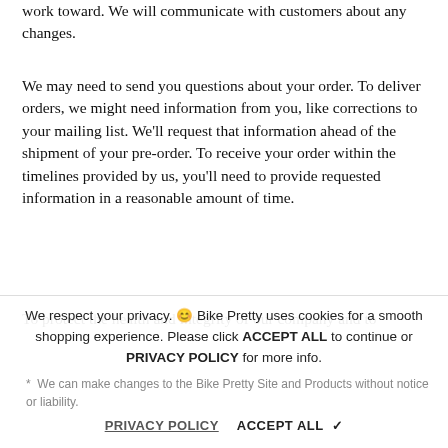work toward. We will communicate with customers about any changes.
We may need to send you questions about your order. To deliver orders, we might need information from you, like corrections to your mailing list. We'll request that information ahead of the shipment of your pre-order. To receive your order within the timelines provided by us, you'll need to provide requested information in a reasonable amount of time.
To protect the health and integrity of our company and to help ensure that we do right by our customers for a long time to come, we reserve the right to do the following:
We can make changes to the Bike Pretty Site and Products without notice or liability.
We respect your privacy. 😊 Bike Pretty uses cookies for a smooth shopping experience. Please click ACCEPT ALL to continue or PRIVACY POLICY for more info.
PRIVACY POLICY    ACCEPT ALL ✔